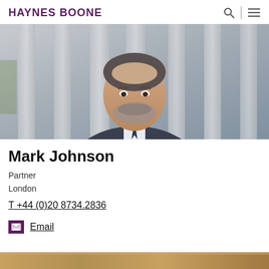HAYNES BOONE
[Figure (photo): Professional headshot of Mark Johnson, a middle-aged man in a dark suit with a navy tie, standing in front of stone columns, grey-streaked hair and beard]
Mark Johnson
Partner
London
T +44 (0)20 8734.2836
Email
[Figure (photo): Partial bottom strip of another photo, appears to be outdoor/architectural scene in warm tones]